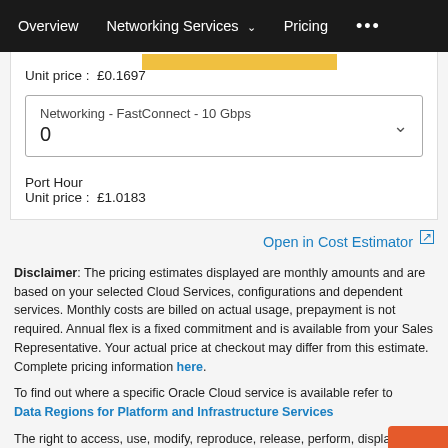Overview   Networking Services ∨   Pricing   •••
Unit price :  £0.1697
Networking - FastConnect - 10 Gbps
0
Port Hour
Unit price :  £1.0183
Open in Cost Estimator ↗
Disclaimer: The pricing estimates displayed are monthly amounts and are based on your selected Cloud Services, configurations and dependent services. Monthly costs are billed on actual usage, prepayment is not required. Annual flex is a fixed commitment and is available from your Sales Representative. Your actual price at checkout may differ from this estimate. Complete pricing information here.
To find out where a specific Oracle Cloud service is available refer to Data Regions for Platform and Infrastructure Services
The right to access, use, modify, reproduce, release, perform, display, disclose or dispose of information revealed or submitted herein is restricted in accordance with or subject to Oracle Legal Notices (available at